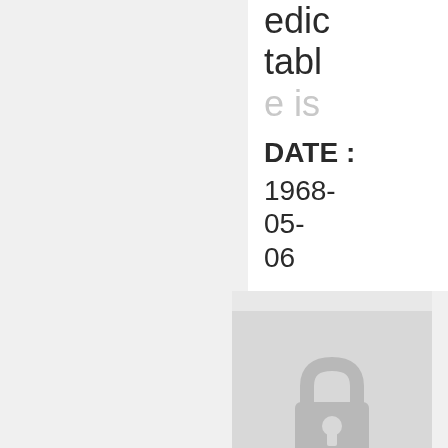edic tabl e is
DATE : 1968-05-06
[Figure (illustration): A padlock icon in gray on a light gray background, indicating restricted/limited access]
Limited